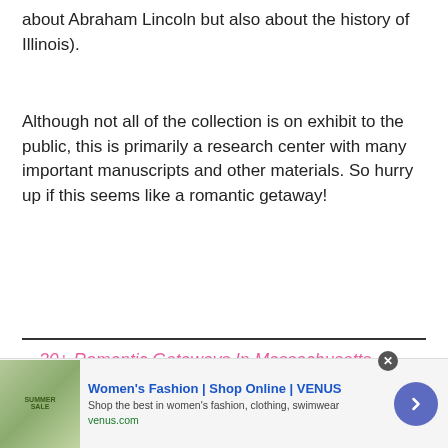about Abraham Lincoln but also about the history of Illinois).
Although not all of the collection is on exhibit to the public, this is primarily a research center with many important manuscripts and other materials. So hurry up if this seems like a romantic getaway!
30+ Romantic Getaways In Massachusetts
30+ Romantic Getaways In Michigan
[Figure (other): Advertisement banner for Women's Fashion | Shop Online | VENUS. Shop the best in women's fashion, clothing, swimwear. venus.com]